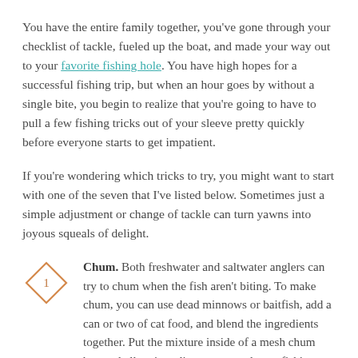You have the entire family together, you've gone through your checklist of tackle, fueled up the boat, and made your way out to your favorite fishing hole. You have high hopes for a successful fishing trip, but when an hour goes by without a single bite, you begin to realize that you're going to have to pull a few fishing tricks out of your sleeve pretty quickly before everyone starts to get impatient.
If you're wondering which tricks to try, you might want to start with one of the seven that I've listed below. Sometimes just a simple adjustment or change of tackle can turn yawns into joyous squeals of delight.
Chum. Both freshwater and saltwater anglers can try to chum when the fish aren't biting. To make chum, you can use dead minnows or baitfish, add a can or two of cat food, and blend the ingredients together. Put the mixture inside of a mesh chum bag and allow it to disperse around your fishing area.